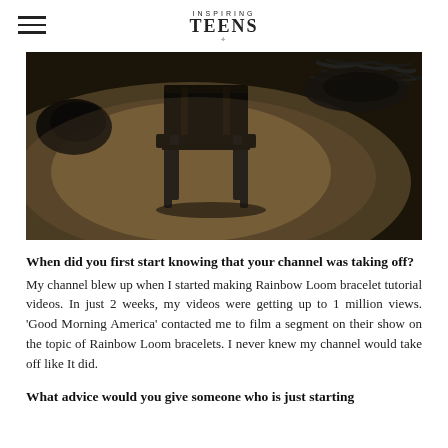Inspiring Teens
[Figure (photo): Dark moody photo of a folding chair silhouetted on a dimly lit floor, with cables/cords visible on the right side and a black bag on the left.]
When did you first start knowing that your channel was taking off?
My channel blew up when I started making Rainbow Loom bracelet tutorial videos. In just 2 weeks, my videos were getting up to 1 million views. 'Good Morning America' contacted me to film a segment on their show on the topic of Rainbow Loom bracelets. I never knew my channel would take off like It did.
What advice would you give someone who is just starting